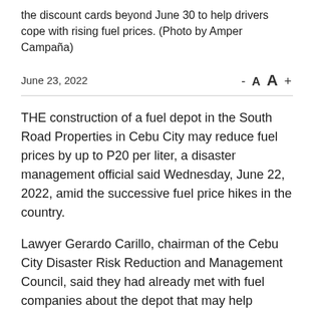the discount cards beyond June 30 to help drivers cope with rising fuel prices. (Photo by Amper Campaña)
June 23, 2022
- A A +
THE construction of a fuel depot in the South Road Properties in Cebu City may reduce fuel prices by up to P20 per liter, a disaster management official said Wednesday, June 22, 2022, amid the successive fuel price hikes in the country.
Lawyer Gerardo Carillo, chairman of the Cebu City Disaster Risk Reduction and Management Council, said they had already met with fuel companies about the depot that may help motorists save money as oil prices are now just a few pesos away from reaching P100 per liter.